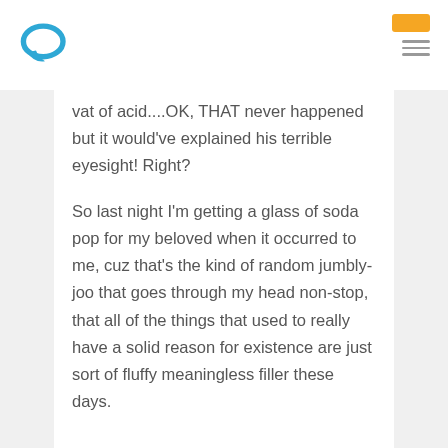vat of acid....OK, THAT never happened but it would've explained his terrible eyesight! Right?
So last night I'm getting a glass of soda pop for my beloved when it occurred to me, cuz that's the kind of random jumbly-joo that goes through my head non-stop, that all of the things that used to really have a solid reason for existence are just sort of fluffy meaningless filler these days.